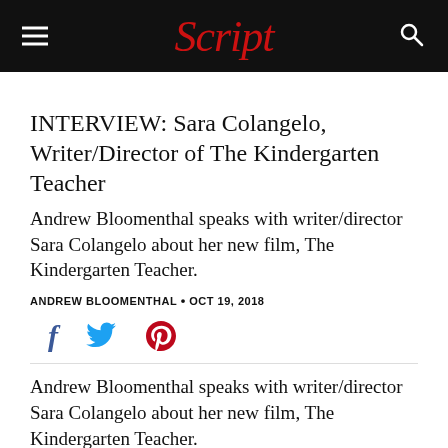Script
INTERVIEW: Sara Colangelo, Writer/Director of The Kindergarten Teacher
Andrew Bloomenthal speaks with writer/director Sara Colangelo about her new film, The Kindergarten Teacher.
ANDREW BLOOMENTHAL • OCT 19, 2018
[Figure (infographic): Social sharing icons: Facebook (f), Twitter (bird), Pinterest (P)]
Andrew Bloomenthal speaks with writer/director Sara Colangelo about her new film, The Kindergarten Teacher.